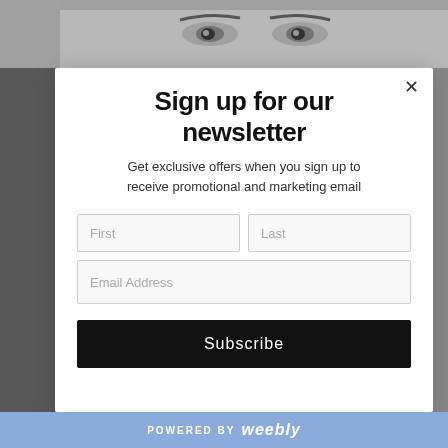[Figure (photo): Grayscale close-up photo of a woman's eyes and forehead at the top of the page behind a modal dialog]
Sign up for our newsletter
Get exclusive offers when you sign up to receive promotional and marketing email
[Figure (screenshot): Newsletter signup form with First, Last, and Email Address input fields and a Subscribe button]
POWERED BY weebly